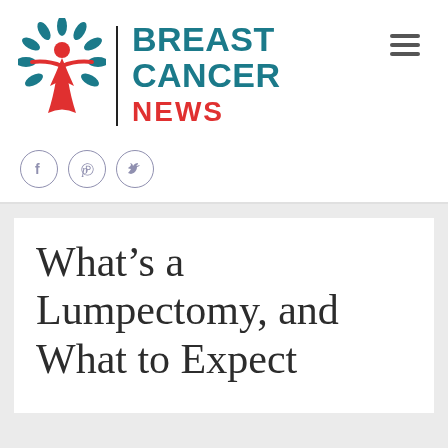[Figure (logo): Breast Cancer News logo with teal leaf figure icon, vertical divider, and text: BREAST CANCER NEWS]
[Figure (other): Hamburger menu icon (three horizontal lines)]
[Figure (other): Three circular social media icons: Facebook (f), Pinterest (p), Twitter (bird)]
What’s a Lumpectomy, and What to Expect